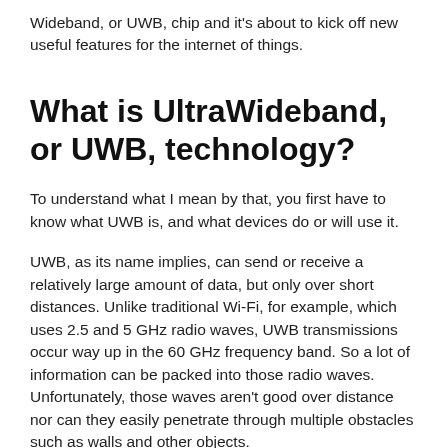Wideband, or UWB, chip and it's about to kick off new useful features for the internet of things.
What is UltraWideband, or UWB, technology?
To understand what I mean by that, you first have to know what UWB is, and what devices do or will use it.
UWB, as its name implies, can send or receive a relatively large amount of data, but only over short distances. Unlike traditional Wi-Fi, for example, which uses 2.5 and 5 GHz radio waves, UWB transmissions occur way up in the 60 GHz frequency band. So a lot of information can be packed into those radio waves. Unfortunately, those waves aren't good over distance nor can they easily penetrate through multiple obstacles such as walls and other objects.
That sounds kind of limiting, and it is. However, UWB offers